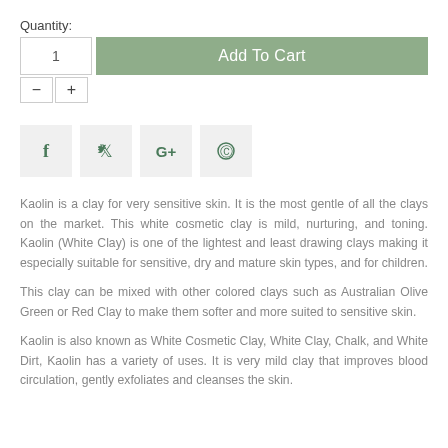Quantity:
[Figure (screenshot): Quantity input with minus and plus buttons, and Add To Cart green button]
[Figure (infographic): Social sharing icons: Facebook, Twitter, Google+, Pinterest]
Kaolin is a clay for very sensitive skin. It is the most gentle of all the clays on the market. This white cosmetic clay is mild, nurturing, and toning. Kaolin (White Clay) is one of the lightest and least drawing clays making it especially suitable for sensitive, dry and mature skin types, and for children.
This clay can be mixed with other colored clays such as Australian Olive Green or Red Clay to make them softer and more suited to sensitive skin.
Kaolin is also known as White Cosmetic Clay, White Clay, Chalk, and White Dirt, Kaolin has a variety of uses. It is very mild clay that improves blood circulation, gently exfoliates and cleanses the skin.